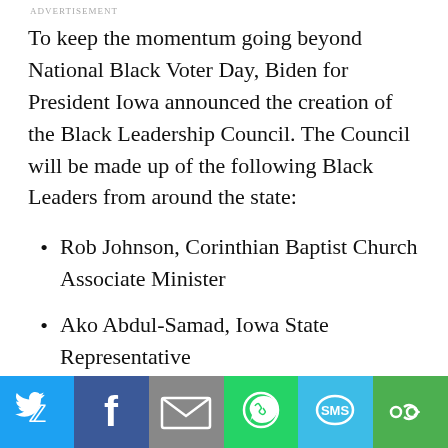ADVERTISEMENT
To keep the momentum going beyond National Black Voter Day, Biden for President Iowa announced the creation of the Black Leadership Council. The Council will be made up of the following Black Leaders from around the state:
Rob Johnson, Corinthian Baptist Church Associate Minister
Ako Abdul-Samad, Iowa State Representative
Ross Wilburn, Iowa State Representative
[Figure (infographic): Social sharing bar with buttons for Twitter, Facebook, Email, WhatsApp, SMS, and More]